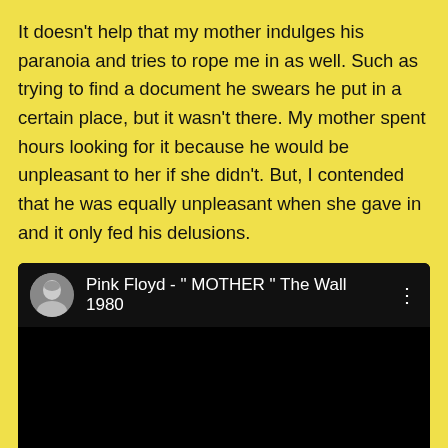It doesn't help that my mother indulges his paranoia and tries to rope me in as well. Such as trying to find a document he swears he put in a certain place, but it wasn't there. My mother spent hours looking for it because he would be unpleasant to her if she didn't. But, I contended that he was equally unpleasant when she gave in and it only fed his delusions.
[Figure (screenshot): A YouTube video embed or preview showing a music video: Pink Floyd - " MOTHER " The Wall 1980. Black background with a circular thumbnail avatar of a person and a three-dot menu icon.]